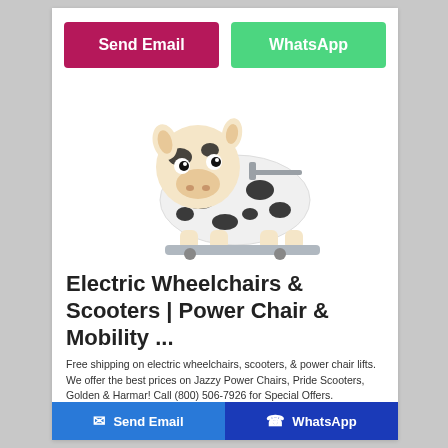Send Email
WhatsApp
[Figure (photo): A plush stuffed animal toy shaped like a cow with black and white spots, large cute eyes, beige muzzle and hooves, sitting on a small ride-on scooter base with a handlebar.]
Electric Wheelchairs & Scooters | Power Chair & Mobility ...
Free shipping on electric wheelchairs, scooters, & power chair lifts. We offer the best prices on Jazzy Power Chairs, Pride Scooters, Golden & Harmar! Call (800) 506-7926 for Special Offers. Wheelchair & Scooter accessories, Electric Lift ...
Send Email
WhatsApp